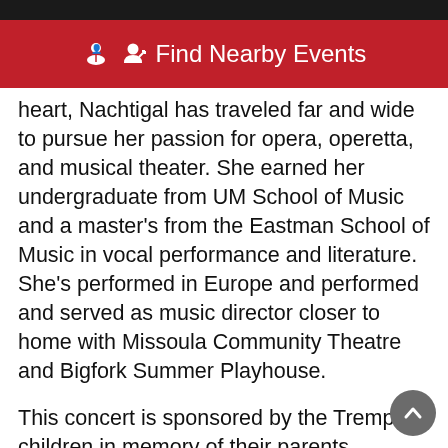Find Nearby Events
heart, Nachtigal has traveled far and wide to pursue her passion for opera, operetta, and musical theater. She earned her undergraduate from UM School of Music and a master's from the Eastman School of Music in vocal performance and literature. She’s performed in Europe and performed and served as music director closer to home with Missoula Community Theatre and Bigfork Summer Playhouse.
This concert is sponsored by the Tremper children in memory of their parents, Barbara and William Tremper, who dearly loved Broadway and the Missoula Symphony Orchestra. The Good Food Store is the 2021-2022 season sponsor for the Missoula Symphony Orchestra and Chorale.
Concertgoers may see “My Fair Broadway” at 7:30 p.m. Jan. 4 and 5 and Jan. 5 at the UM Perform...Theatre...